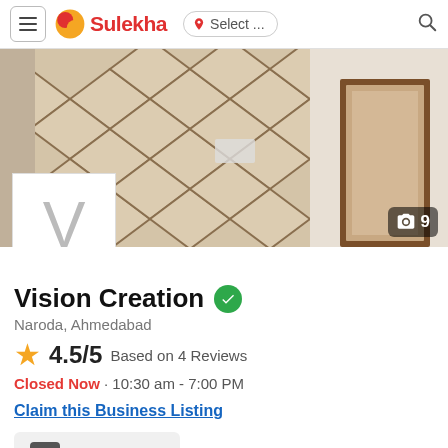Sulekha · Select ... (location)
[Figure (photo): Interior room photo showing a wall with geometric diamond pattern tile design in beige and brown, with a wooden door frame on the right side]
Vision Creation (verified)
Naroda, Ahmedabad
4.5/5 Based on 4 Reviews
Closed Now · 10:30 am - 7:00 PM
Claim this Business Listing
Write Review